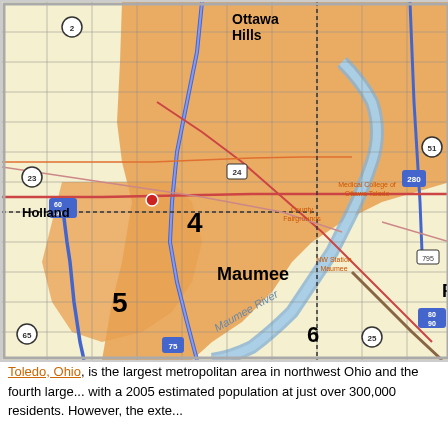[Figure (map): A street and highway map of the Toledo, Ohio metropolitan area showing cities including Ottawa Hills, Oregon, Holland, Rossford, Northwood, Maumee, Walbridge, Perrysburg, and Lime City. The map shows major highways (I-75, I-280, US-24, US-20, US-23, US-6), the Maumee River, and various numbered map sections (4, 5, 6, 7). Orange shading indicates Toledo urban area. Yellow shading indicates surrounding municipalities.]
Toledo, Ohio, is the largest metropolitan area in northwest Ohio and the fourth large... with a 2005 estimated population at just over 300,000 residents. However, the exte...